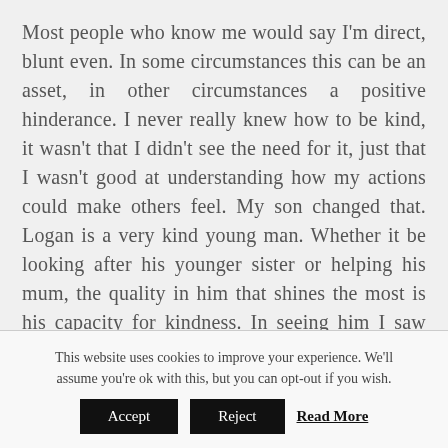Most people who know me would say I'm direct, blunt even. In some circumstances this can be an asset, in other circumstances a positive hinderance. I never really knew how to be kind, it wasn't that I didn't see the need for it, just that I wasn't good at understanding how my actions could make others feel. My son changed that. Logan is a very kind young man. Whether it be looking after his younger sister or helping his mum, the quality in him that shines the most is his capacity for kindness. In seeing him I saw how admirable it is to be kind to people and I have sought to do the same in my own life. I'm not great at it if I'm honest but I get better the more time I spend with
This website uses cookies to improve your experience. We'll assume you're ok with this, but you can opt-out if you wish.